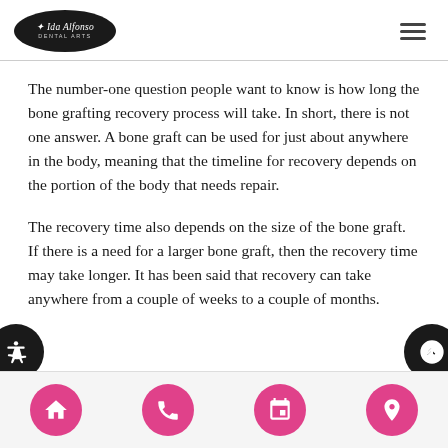Ida Alfonso Dental Arts
The number-one question people want to know is how long the bone grafting recovery process will take. In short, there is not one answer. A bone graft can be used for just about anywhere in the body, meaning that the timeline for recovery depends on the portion of the body that needs repair.
The recovery time also depends on the size of the bone graft. If there is a need for a larger bone graft, then the recovery time may take longer. It has been said that recovery can take anywhere from a couple of weeks to a couple of months.
Navigation bar with home, phone, calendar, and location icons